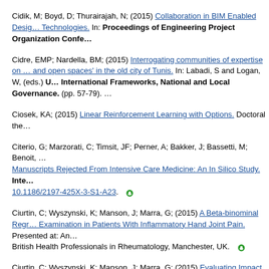Cidik, M; Boyd, D; Thurairajah, N; (2015) Collaboration in BIM Enabled Design Technologies. In: Proceedings of Engineering Project Organization Confe…
Cidre, EMP; Nardella, BM; (2015) Interrogating communities of expertise on … and open spaces' in the old city of Tunis. In: Labadi, S and Logan, W, (eds.) Urban Heritage, International Frameworks, National and Local Governance. (pp. 57-79).
Ciosek, KA; (2015) Linear Reinforcement Learning with Options. Doctoral the…
Citerio, G; Marzorati, C; Timsit, JF; Perner, A; Bakker, J; Bassetti, M; Benoit, … Manuscripts Rejected From Intensive Care Medicine: An In Silico Study. Inte… 10.1186/2197-425X-3-S1-A23. [open access]
Ciurtin, C; Wyszynski, K; Manson, J; Marra, G; (2015) A Beta-binominal Regr… Examination in Patients With Inflammatory Hand Joint Pain. Presented at: An… British Health Professionals in Rheumatology, Manchester, UK. [open access]
Ciurtin, C; Wyszynski, K; Manson, J; Marra, G; (2015) Evaluating Impact of R… of Patients with Inflammatory Hand Joint Pain Using a Beta-Binomial Model. of Rheumatology, Rome, Italy. [open access]
Claeys, M; Tuncer, D; Famaey, J; Charalambides, M; Latre, S; Pavlou, G; De…